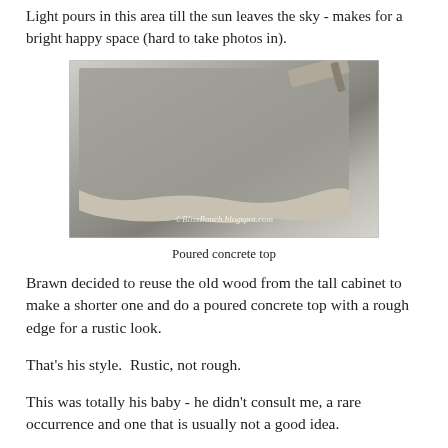Light pours in this area till the sun leaves the sky - makes for a bright happy space (hard to take photos in).
[Figure (photo): A freshly poured concrete countertop being troweled, with rough edges visible, watermark reads ©BlissRanch.blogspot.com]
Poured concrete top
Brawn decided to reuse the old wood from the tall cabinet to make a shorter one and do a poured concrete top with a rough edge for a rustic look.
That's his style.  Rustic, not rough.
This was totally his baby - he didn't consult me, a rare occurrence and one that is usually not a good idea.
[Figure (photo): Partial view of another photo at the bottom of the page, appears to show a dark surface or object.]